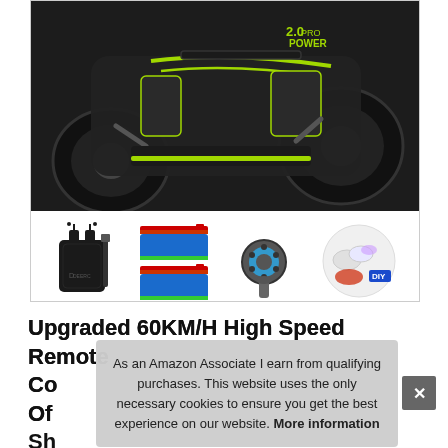[Figure (photo): Product listing image showing a black and green RC monster truck (top half) and accessories including a black drawstring bag, a brush/tool, two blue batteries, a wheel/motor component, and a DIY kit with gloves and materials (bottom half).]
Upgraded 60KM/H High Speed Remote Control Car Off Shell, 2 Battery, 70 Min Car Toy for Boys
As an Amazon Associate I earn from qualifying purchases. This website uses the only necessary cookies to ensure you get the best experience on our website. More information